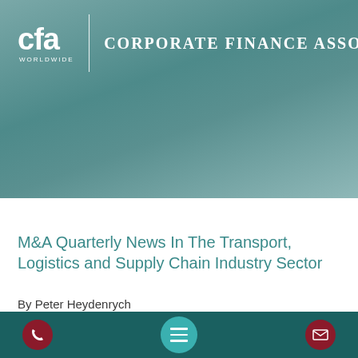[Figure (logo): CFA Worldwide logo with text 'cfa WORLDWIDE' and vertical divider followed by 'CORPORATE FINANCE ASSOCIATES' in white on teal gradient background]
M&A Quarterly News In The Transport, Logistics and Supply Chain Industry Sector
By Peter Heydenrych
[Figure (infographic): Dark teal footer bar with crimson circle phone icon on left, teal circle hamburger menu icon in center bottom, crimson circle email icon on right]